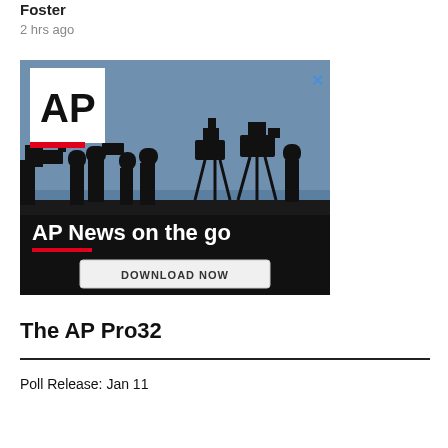Foster
2 hrs ago
[Figure (screenshot): AP News advertisement banner showing silhouettes of camera operators and journalists against a blue sky. AP logo in top-left with red bar underneath. Text reads 'AP News on the go' with a red underline bar and a 'DOWNLOAD NOW' button. An X close button appears in the top-right corner.]
The AP Pro32
Poll Release: Jan 11